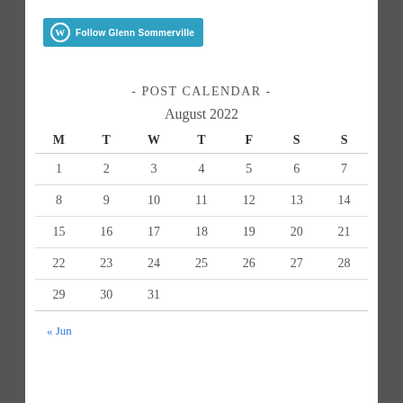[Figure (logo): WordPress Follow button with W logo and text 'Follow Glenn Sommerville']
- POST CALENDAR -
| M | T | W | T | F | S | S |
| --- | --- | --- | --- | --- | --- | --- |
| 1 | 2 | 3 | 4 | 5 | 6 | 7 |
| 8 | 9 | 10 | 11 | 12 | 13 | 14 |
| 15 | 16 | 17 | 18 | 19 | 20 | 21 |
| 22 | 23 | 24 | 25 | 26 | 27 | 28 |
| 29 | 30 | 31 |  |  |  |  |
« Jun